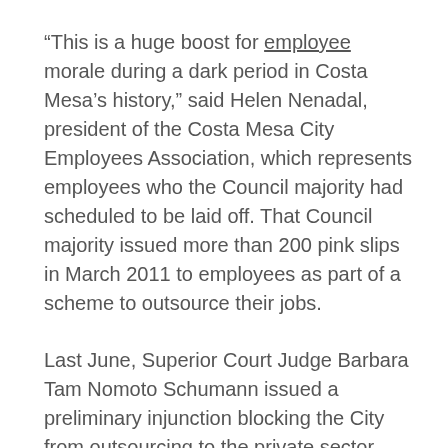“This is a huge boost for employee morale during a dark period in Costa Mesa’s history,” said Helen Nenadal, president of the Costa Mesa City Employees Association, which represents employees who the Council majority had scheduled to be laid off. That Council majority issued more than 200 pink slips in March 2011 to employees as part of a scheme to outsource their jobs.
Last June, Superior Court Judge Barbara Tam Nomoto Schumann issued a preliminary injunction blocking the City from outsourcing to the private sector. The City appealed that decision to the Fourth District Court of Appeals.
On Friday, the Appellate Court rejected the City’s request to overturn the injunction, affirming Judge